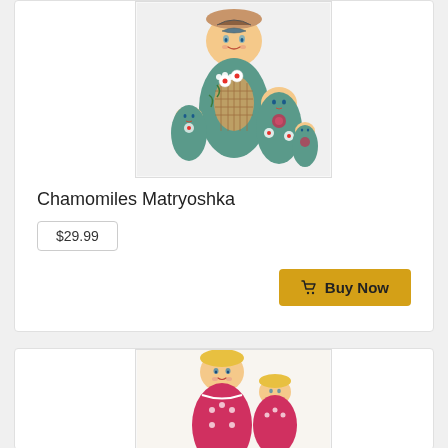[Figure (photo): Teal/green Matryoshka Russian nesting dolls set of 5, decorated with daisy/chamomile flowers, arranged from largest to smallest]
Chamomiles Matryoshka
$29.99
Buy Now
[Figure (photo): Pink/red Matryoshka Russian nesting dolls with yellow hair, partially visible at bottom of page]